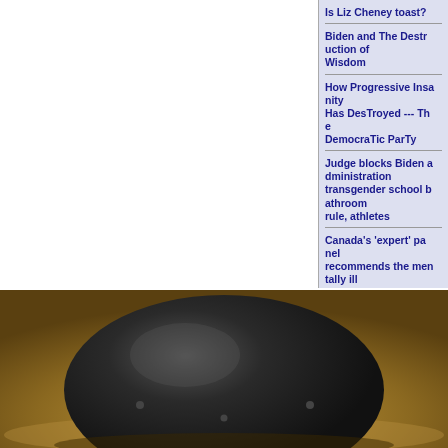Is Liz Cheney toast?
Biden and The Destruction of Wisdom
How Progressive Insanity Has DesTroyed --- The DemocraTic ParTy
Judge blocks Biden administration transgender school bathroom rule, athletes
Canada's 'expert' panel recommends the mentally ill be candidates for euthanasia
Cat's reaction when she hears "I use she/her pronouns"
[Figure (photo): Close-up photo of a dark round helmet or spherical object on a sandy/earthy background]